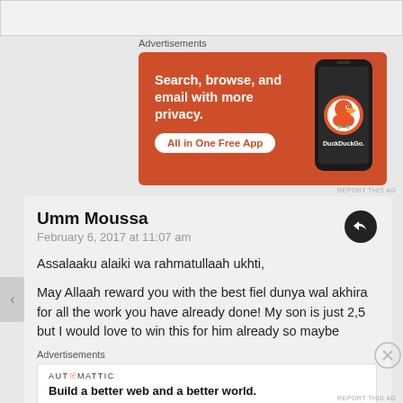[Figure (screenshot): DuckDuckGo advertisement banner with orange background. Text: 'Search, browse, and email with more privacy. All in One Free App'. Shows a phone with DuckDuckGo logo.]
Advertisements
REPORT THIS AD
Umm Moussa
February 6, 2017 at 11:07 am

Assalaaku alaiki wa rahmatullaah ukhti,

May Allaah reward you with the best fiel dunya wal akhira for all the work you have already done! My son is just 2,5 but I would love to win this for him already so maybe
Advertisements
[Figure (screenshot): Automattic advertisement: 'Build a better web and a better world.']
REPORT THIS AD